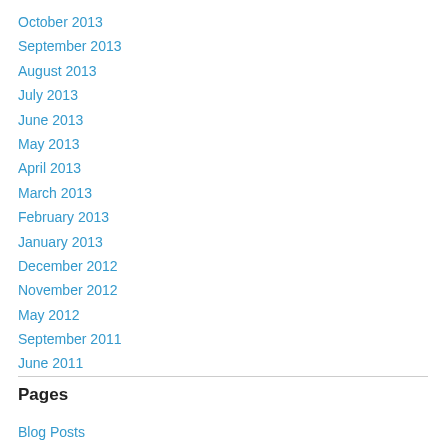October 2013
September 2013
August 2013
July 2013
June 2013
May 2013
April 2013
March 2013
February 2013
January 2013
December 2012
November 2012
May 2012
September 2011
June 2011
Pages
Blog Posts